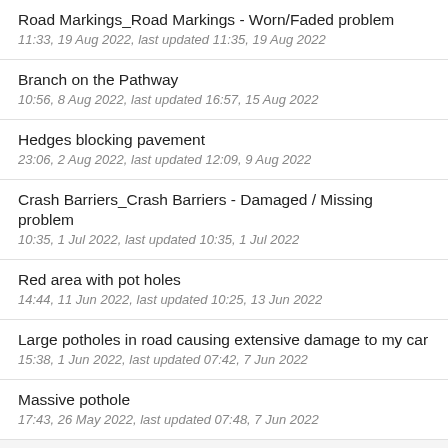Road Markings_Road Markings - Worn/Faded problem
11:33, 19 Aug 2022, last updated 11:35, 19 Aug 2022
Branch on the Pathway
10:56, 8 Aug 2022, last updated 16:57, 15 Aug 2022
Hedges blocking pavement
23:06, 2 Aug 2022, last updated 12:09, 9 Aug 2022
Crash Barriers_Crash Barriers - Damaged / Missing problem
10:35, 1 Jul 2022, last updated 10:35, 1 Jul 2022
Red area with pot holes
14:44, 11 Jun 2022, last updated 10:25, 13 Jun 2022
Large potholes in road causing extensive damage to my car
15:38, 1 Jun 2022, last updated 07:42, 7 Jun 2022
Massive pothole
17:43, 26 May 2022, last updated 07:48, 7 Jun 2022